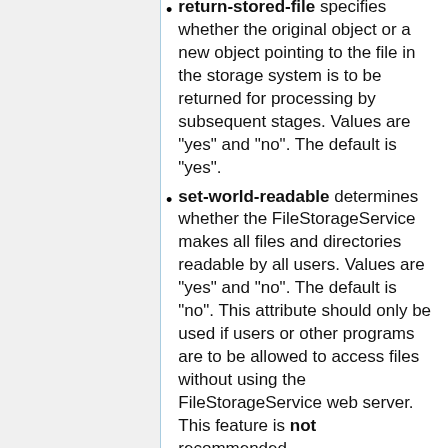return-stored-file specifies whether the original object or a new object pointing to the file in the storage system is to be returned for processing by subsequent stages. Values are "yes" and "no". The default is "yes".
set-world-readable determines whether the FileStorageService makes all files and directories readable by all users. Values are "yes" and "no". The default is "no". This attribute should only be used if users or other programs are to be allowed to access files without using the FileStorageService web server. This feature is not recommended.
set-world-writable determines whether the FileStorageService makes all files and directories writable by all users.